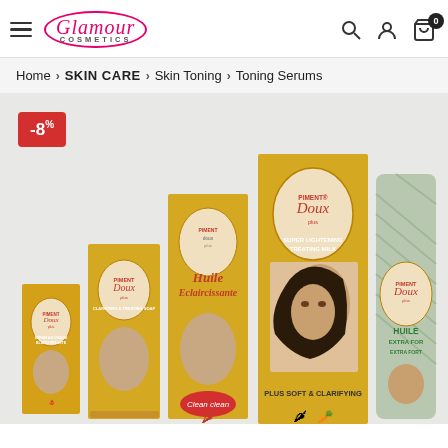Glamour Cosmetics — Home > SKIN CARE > Skin Toning > Toning Serums
Home > SKIN CARE > Skin Toning > Toning Serums
[Figure (photo): Product photo of Piment Doux Plus skincare range: several yellow boxes including Clarifying & Treating Soap, Huile Eclaircissante (Clean Clean), Super Lightening Treating Milk (Plus Soft & Clarifying), and Huile Extra Fort, arranged together with a -8% discount badge in the top-left corner.]